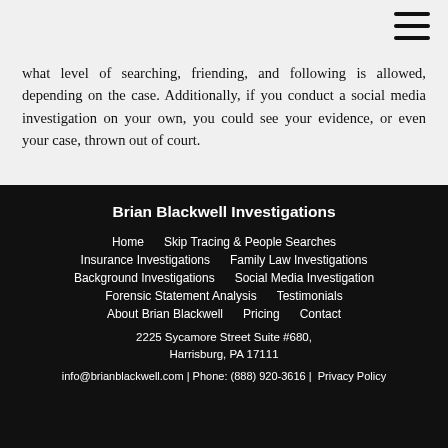what level of searching, friending, and following is allowed, depending on the case. Additionally, if you conduct a social media investigation on your own, you could see your evidence, or even your case, thrown out of court.
Brian Blackwell Investigations
Home | Skip Tracing & People Searches | Insurance Investigations | Family Law Investigations | Background Investigations | Social Media Investigation | Forensic Statement Analysis | Testimonials | About Brian Blackwell | Pricing | Contact
2225 Sycamore Street Suite #680, Harrisburg, PA 17111
info@brianblackwell.com | Phone: (888) 920-3616 | Privacy Policy